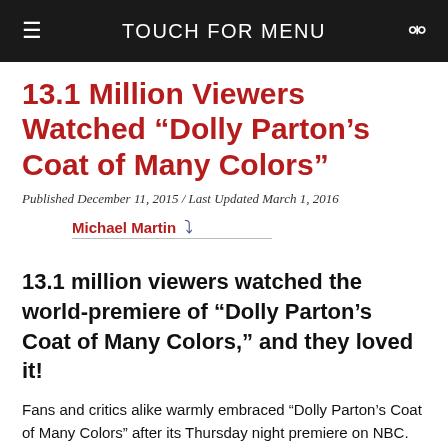TOUCH FOR MENU
13.1 Million Viewers Watched “Dolly Parton’s Coat of Many Colors”
Published December 11, 2015 / Last Updated March 1, 2016
Michael Martin
13.1 million viewers watched the world-premiere of “Dolly Parton’s Coat of Many Colors,” and they loved it!
Fans and critics alike warmly embraced “Dolly Parton's Coat of Many Colors” after its Thursday night premiere on NBC. Not taking into account sports and live musicals, Dolly's heartwarming story